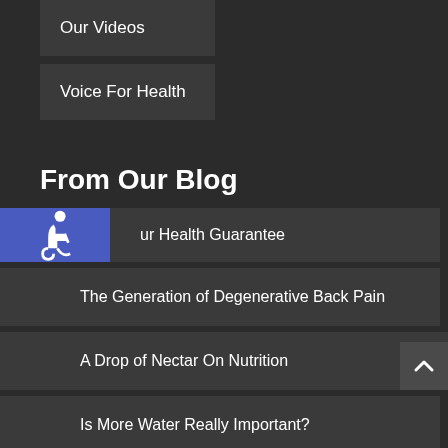Our Videos
Voice For Health
From Our Blog
Our Health Guarantee
The Generation of Degenerative Back Pain
A Drop of Nectar On Nutrition
Is More Water Really Important?
Side Effects – Your Healthcare Choice